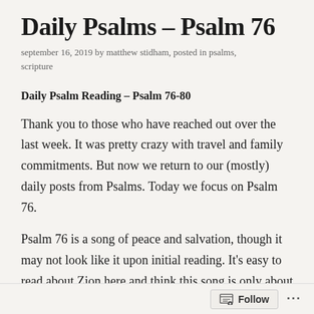Daily Psalms – Psalm 76
september 16, 2019 by matthew stidham, posted in psalms, scripture
Daily Psalm Reading – Psalm 76-80
Thank you to those who have reached out over the last week. It was pretty crazy with travel and family commitments. But now we return to our (mostly) daily posts from Psalms. Today we focus on Psalm 76.
Psalm 76 is a song of peace and salvation, though it may not look like it upon initial reading. It's easy to read about Zion here and think this song is only about Jerusalem, the promised land, or some battle fought there. But we forget that Zion serves as a symbol for God's sovereignty in all times and all places. That includes the
Follow ...